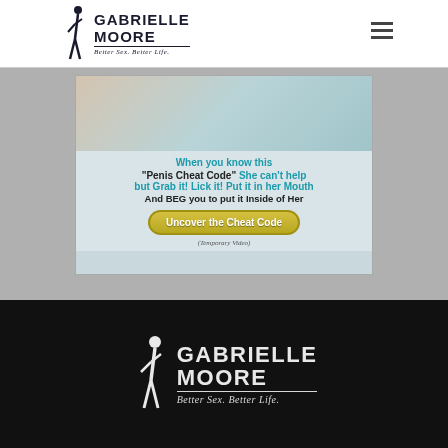[Figure (logo): Gabrielle Moore logo - Better Sex. Better Life. brand logo with silhouette figure, dark text on white background]
[Figure (infographic): Advertisement banner with text about 'Penis Cheat Code' with teal and black text on light blue-gray background, yellow rounded button reading 'Uncover the Cheat Code', footnote '(Temporary Video)']
[Figure (logo): Gabrielle Moore logo in white on black background - Better Sex. Better Life. brand logo with silhouette figure, footer version]